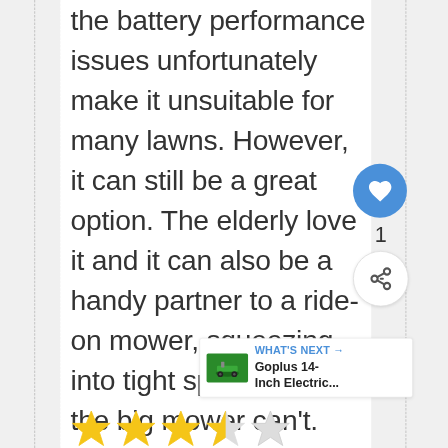the battery performance issues unfortunately make it unsuitable for many lawns. However, it can still be a great option. The elderly love it and it can also be a handy partner to a ride-on mower, squeezing into tight spaces that the big mower can't. Just make sure your circumstances match up well with its quirks and you'll likely be very satisfied.
[Figure (illustration): Heart (like) button in blue circle with count of 1, share button, and 'What's Next' card showing Goplus 14-Inch Electric mower thumbnail]
[Figure (illustration): Star rating row at bottom, showing approximately 3.5 out of 5 stars in gold/yellow]